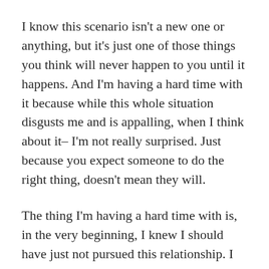I know this scenario isn't a new one or anything, but it's just one of those things you think will never happen to you until it happens. And I'm having a hard time with it because while this whole situation disgusts me and is appalling, when I think about it– I'm not really surprised. Just because you expect someone to do the right thing, doesn't mean they will.
The thing I'm having a hard time with is, in the very beginning, I knew I should have just not pursued this relationship. I just knew I shouldn't have done it. I made so many excuses, ignored the red flags that I knew were there from the very first date. While I know it isn't all my fault, I can't help but tell myself that I